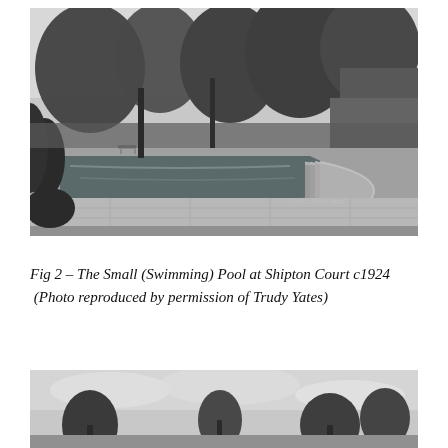[Figure (photo): Black and white photograph of a rectangular swimming pool at Shipton Court, circa 1924. The pool features curved steps on one end and is surrounded by stone paving. Trees and hedges form the background. A bench is visible in the middle distance.]
Fig 2 – The Small (Swimming) Pool at Shipton Court c1924 (Photo reproduced by permission of Trudy Yates)
[Figure (photo): Black and white photograph showing trees against a cloudy sky, partially cropped at the bottom of the page.]